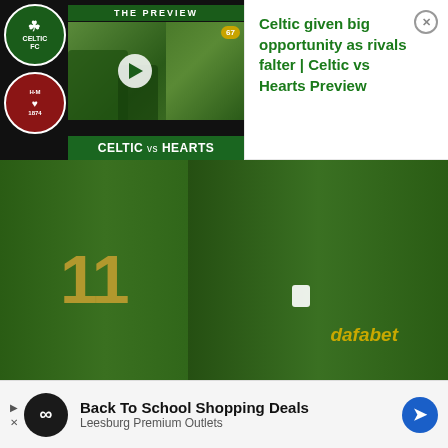[Figure (screenshot): Video thumbnail showing Celtic vs Hearts preview with Celtic and Hearts logos, players on pitch, play button, and green banner reading CELTIC vs HEARTS]
[Figure (photo): Two Celtic FC players in green and gold striped dafabet jerseys celebrating, one wearing number 11]
Celtic given big opportunity as rivals falter | Celtic vs Hearts Preview
Jonny Hayes didn't let anyone down today (David Fitzgerald/Sportsfile via Getty Images)
... Celtic still missing, it was ...
[Figure (infographic): Bottom advertisement: Back To School Shopping Deals - Leesburg Premium Outlets with infinity logo and blue arrow]